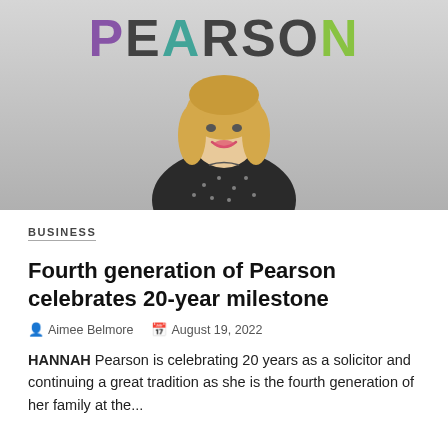[Figure (photo): Portrait photo of a blonde woman in a black polka-dot top, smiling, in front of a colorful PEARSON logo on a wall]
BUSINESS
Fourth generation of Pearson celebrates 20-year milestone
Aimee Belmore   August 19, 2022
HANNAH Pearson is celebrating 20 years as a solicitor and continuing a great tradition as she is the fourth generation of her family at the...